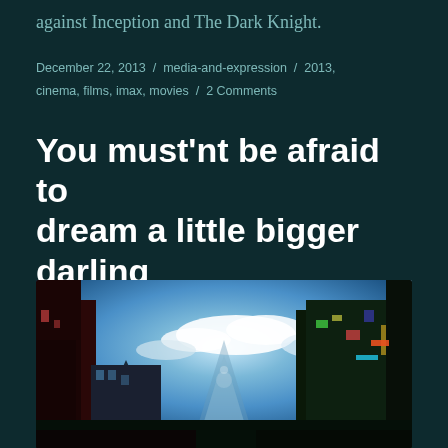against Inception and The Dark Knight.
December 22, 2013 / media-and-expression / 2013, cinema, films, imax, movies / 2 Comments
You must'nt be afraid to dream a little bigger darling
[Figure (photo): Wide-angle fisheye cityscape photo showing tall buildings and city streets from a low angle with dramatic sky]